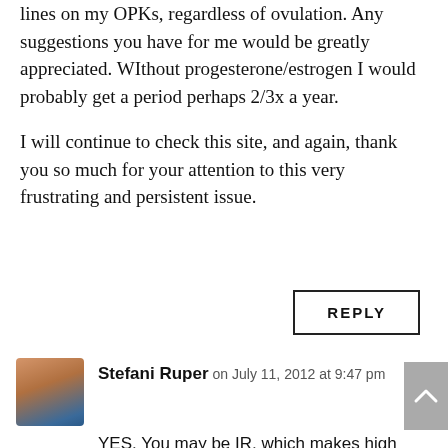lines on my OPKs, regardless of ovulation. Any suggestions you have for me would be greatly appreciated. WIthout progesterone/estrogen I would probably get a period perhaps 2/3x a year.
I will continue to check this site, and again, thank you so much for your attention to this very frustrating and persistent issue.
REPLY
Stefani Ruper on July 11, 2012 at 9:47 pm
YES. You may be IR, which makes high testosterone a potential problem for you — but I think more important, honestly, is the extraordinary low body fat. Your estrogen levels are in the basement for...